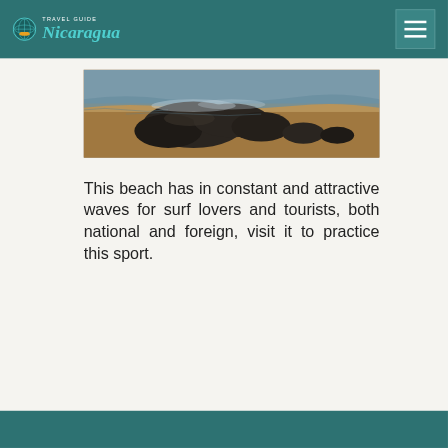Travel Guide Nicaragua
[Figure (photo): Coastal beach scene with dark volcanic rocks on sandy shore with waves, panoramic view]
This beach has in constant and attractive waves for surf lovers and tourists, both national and foreign, visit it to practice this sport.